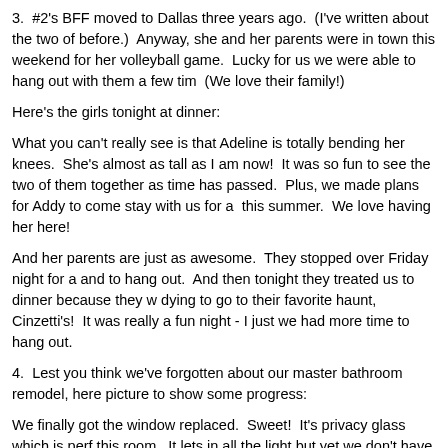3.  #2's BFF moved to Dallas three years ago.  (I've written about the two of before.)  Anyway, she and her parents were in town this weekend for her volleyball game.  Lucky for us we were able to hang out with them a few tim  (We love their family!)
Here's the girls tonight at dinner:
What you can't really see is that Adeline is totally bending her knees.  She's almost as tall as I am now!  It was so fun to see the two of them together as time has passed.  Plus, we made plans for Addy to come stay with us for a  this summer.  We love having her here!
And her parents are just as awesome.  They stopped over Friday night for a and to hang out.  And then tonight they treated us to dinner because they w dying to go to their favorite haunt, Cinzetti's!  It was really a fun night - I just we had more time to hang out.
4.  Lest you think we've forgotten about our master bathroom remodel, here picture to show some progress:
We finally got the window replaced.  Sweet!  It's privacy glass which is perf this room.  It lets in all the light but yet we don't have to worry about peeping Toms!
I also managed to prime and paint one coat on the ceiling in between socce